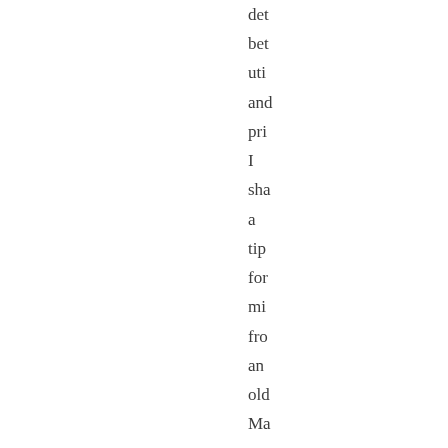det bet uti and pri I sha a tip for mi fro an old Ma mi to a nev